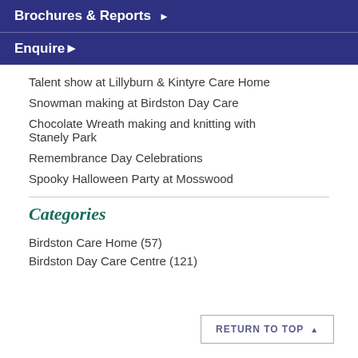Brochures & Reports ▶
Enquire ▶
Talent show at Lillyburn & Kintyre Care Home
Snowman making at Birdston Day Care
Chocolate Wreath making and knitting with Stanely Park
Remembrance Day Celebrations
Spooky Halloween Party at Mosswood
Categories
Birdston Care Home (57)
Birdston Day Care Centre (121)